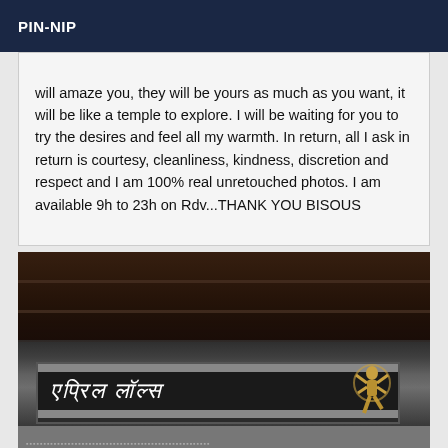PIN-NIP
will amaze you, they will be yours as much as you want, it will be like a temple to explore. I will be waiting for you to try the desires and feel all my warmth. In return, all I ask in return is courtesy, cleanliness, kindness, discretion and respect and I am 100% real unretouched photos. I am available 9h to 23h on Rdv...THANK YOU BISOUS
[Figure (photo): A dark photo showing a sign board with Devanagari/Hindi script text in white on a black background, with a golden Nataraja (dancing Shiva) statue visible on the right side. Shelving or wooden structure visible in the background at the top.]